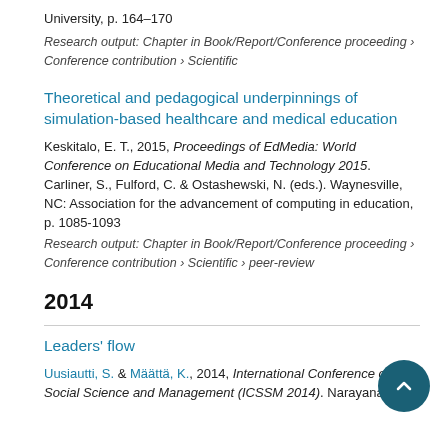University, p. 164–170
Research output: Chapter in Book/Report/Conference proceeding › Conference contribution › Scientific
Theoretical and pedagogical underpinnings of simulation-based healthcare and medical education
Keskitalo, E. T., 2015, Proceedings of EdMedia: World Conference on Educational Media and Technology 2015. Carliner, S., Fulford, C. & Ostashewski, N. (eds.). Waynesville, NC: Association for the advancement of computing in education, p. 1085-1093
Research output: Chapter in Book/Report/Conference proceeding › Conference contribution › Scientific › peer-review
2014
Leaders' flow
Uusiautti, S. & Määttä, K., 2014, International Conference on Social Science and Management (ICSSM 2014). Narayanasamy